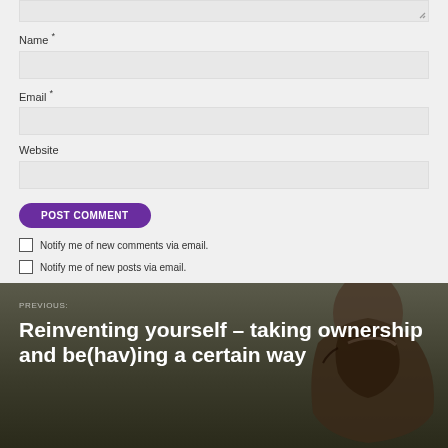Name *
Email *
Website
POST COMMENT
Notify me of new comments via email.
Notify me of new posts via email.
PREVIOUS:
Reinventing yourself – taking ownership and be(hav)ing a certain way